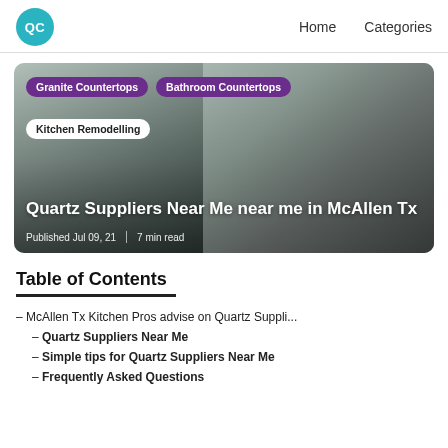QC  Home  Categories
[Figure (photo): Hero image of a kitchen with granite/quartz countertops. Overlaid tags: 'Granite Countertops', 'Bathroom Countertops', 'Kitchen Remodelling'. Title: 'Quartz Suppliers Near Me near me in McAllen Tx'. Meta: 'Published Jul 09, 21 | 7 min read']
Table of Contents
– McAllen Tx Kitchen Pros advise on Quartz Suppli...
– Quartz Suppliers Near Me
– Simple tips for Quartz Suppliers Near Me
– Frequently Asked Questions